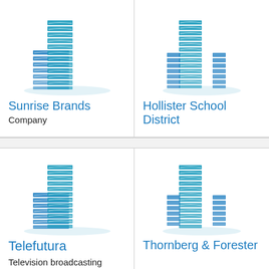[Figure (logo): Blue building/skyscraper icon for Sunrise Brands]
Sunrise Brands
Company
[Figure (logo): Blue building/skyscraper icon for Hollister School District]
Hollister School District
[Figure (logo): Blue building/skyscraper icon for Telefutura]
Telefutura
Television broadcasting company
[Figure (logo): Blue building/skyscraper icon for Thornberg & Forester]
Thornberg & Forester